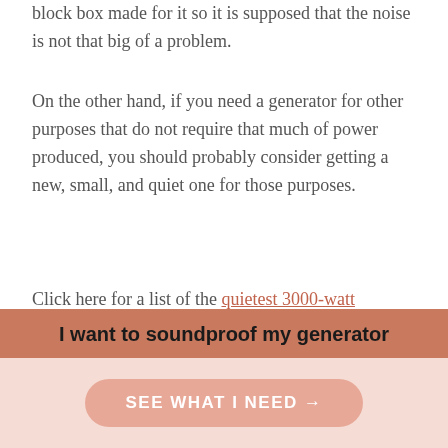block box made for it so it is supposed that the noise is not that big of a problem.
On the other hand, if you need a generator for other purposes that do not require that much of power produced, you should probably consider getting a new, small, and quiet one for those purposes.
Click here for a list of the quietest 3000-watt generators.
I want to soundproof my generator
SEE WHAT I NEED →